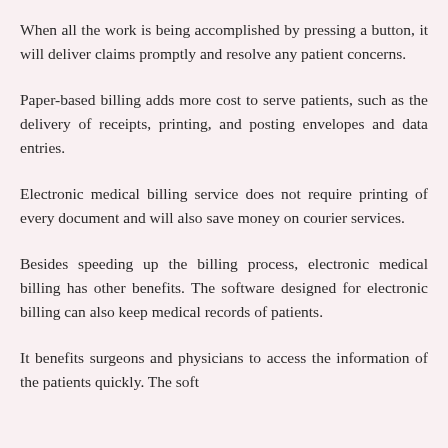When all the work is being accomplished by pressing a button, it will deliver claims promptly and resolve any patient concerns.
Paper-based billing adds more cost to serve patients, such as the delivery of receipts, printing, and posting envelopes and data entries.
Electronic medical billing service does not require printing of every document and will also save money on courier services.
Besides speeding up the billing process, electronic medical billing has other benefits. The software designed for electronic billing can also keep medical records of patients.
It benefits surgeons and physicians to access the information of the patients quickly. The software...